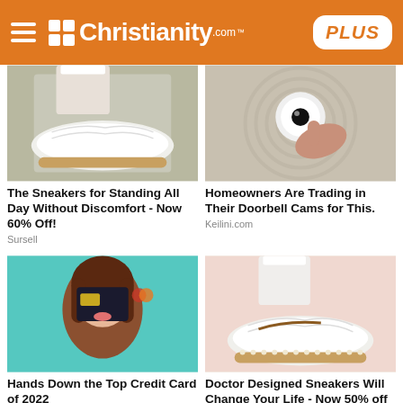Christianity.com PLUS
[Figure (photo): Close-up of white mesh sneakers with espadrille-style soles on a person's feet]
The Sneakers for Standing All Day Without Discomfort - Now 60% Off!
Sursell
[Figure (photo): Hand installing or adjusting a round white device (doorbell cam replacement) on a woven surface]
Homeowners Are Trading in Their Doorbell Cams for This.
Keilini.com
[Figure (photo): Young woman holding a black credit card in front of her eye, smiling, on teal background]
Hands Down the Top Credit Card of 2022
[Figure (photo): Close-up of white mesh sneakers with gold/tan trim on a person's feet against a pink background]
Doctor Designed Sneakers Will Change Your Life - Now 50% off